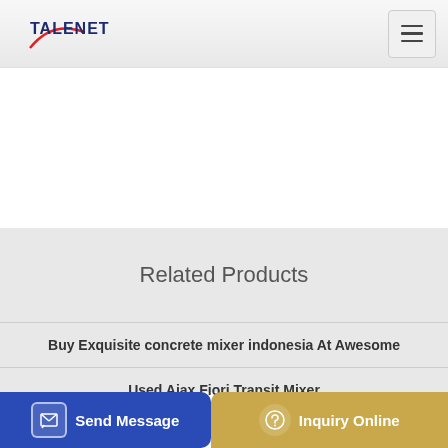TALENET
Related Products
Buy Exquisite concrete mixer indonesia At Awesome
Used Ajax Fiori Transit Mixer
...thing p...